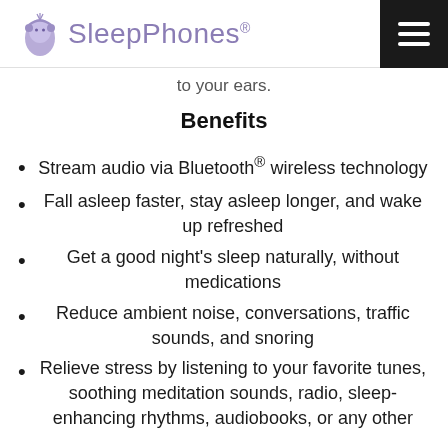SleepPhones®
to your ears.
Benefits
Stream audio via Bluetooth® wireless technology
Fall asleep faster, stay asleep longer, and wake up refreshed
Get a good night's sleep naturally, without medications
Reduce ambient noise, conversations, traffic sounds, and snoring
Relieve stress by listening to your favorite tunes, soothing meditation sounds, radio, sleep-enhancing rhythms, audiobooks, or any other